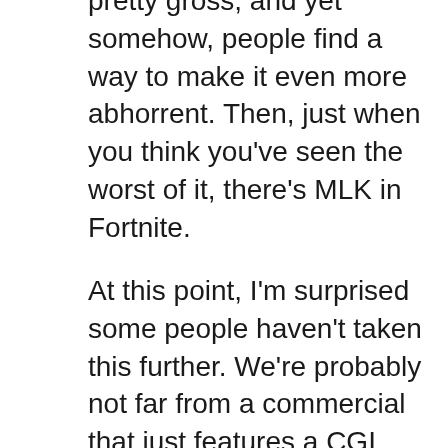pretty gross, and yet somehow, people find a way to make it even more abhorrent. Then, just when you think you've seen the worst of it, there's MLK in Fortnite.
At this point, I'm surprised some people haven't taken this further. We're probably not far from a commercial that just features a CGI King. He stands proudly, looking out over a sea of dirty laundry, and says, “Now is the time for us to turn the